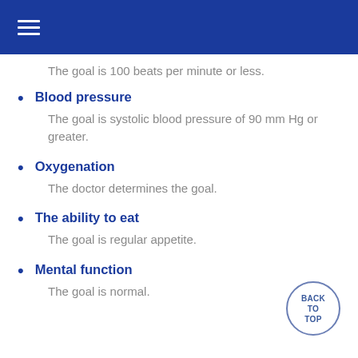The goal is 100 beats per minute or less.
Blood pressure
The goal is systolic blood pressure of 90 mm Hg or greater.
Oxygenation
The doctor determines the goal.
The ability to eat
The goal is regular appetite.
Mental function
The goal is normal.